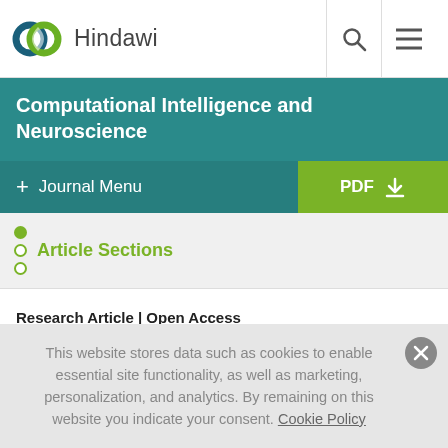Hindawi
Computational Intelligence and Neuroscience
+ Journal Menu | PDF
Article Sections
Research Article | Open Access
Volume 2021 | Article ID 9960478 |
https://doi.org/10.1155/2021/9960478
This website stores data such as cookies to enable essential site functionality, as well as marketing, personalization, and analytics. By remaining on this website you indicate your consent. Cookie Policy